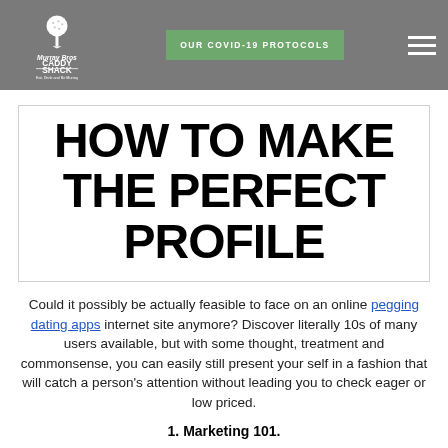Murray Bros Caddy Shack — OUR COVID-19 PROTOCOLS
HOW TO MAKE THE PERFECT PROFILE
Could it possibly be actually feasible to face on an online pegging dating apps internet site anymore? Discover literally 10s of many users available, but with some thought, treatment and commonsense, you can easily still present your self in a fashion that will catch a person's attention without leading you to check eager or low priced.
1. Marketing 101.